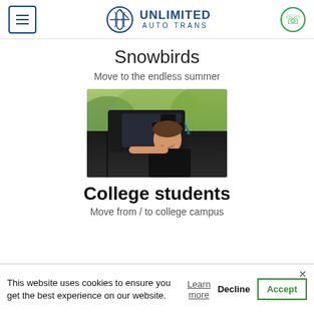Unlimited Auto Trans — navigation header with menu button, logo, and phone icon
Snowbirds
Move to the endless summer
[Figure (photo): Young woman in graduation cap and gown smiling out of a car window]
College students
Move from / to college campus
This website uses cookies to ensure you get the best experience on our website. Learn more  Decline  Accept